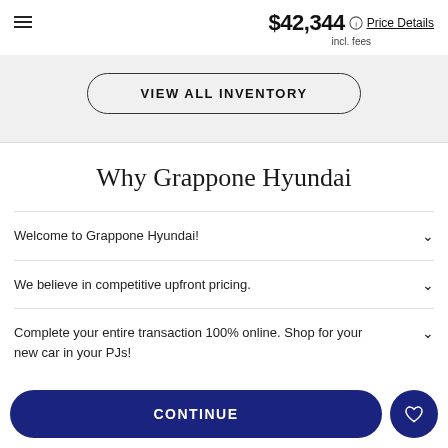$42,344 incl. fees | Price Details
VIEW ALL INVENTORY
Why Grappone Hyundai
Welcome to Grappone Hyundai!
We believe in competitive upfront pricing.
Complete your entire transaction 100% online. Shop for your new car in your PJs!
CONTINUE